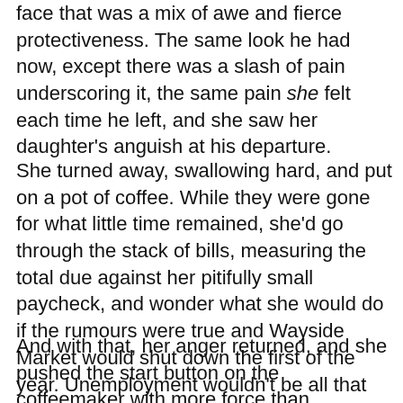face that was a mix of awe and fierce protectiveness. The same look he had now, except there was a slash of pain underscoring it, the same pain she felt each time he left, and she saw her daughter's anguish at his departure.
She turned away, swallowing hard, and put on a pot of coffee. While they were gone for what little time remained, she'd go through the stack of bills, measuring the total due against her pitifully small paycheck, and wonder what she would do if the rumours were true and Wayside Market would shut down the first of the year. Unemployment wouldn't be all that much, and her weekend work at Sam's Bar & Grille would hardly make up the difference. As for the child support...
And with that, her anger returned, and she pushed the start button on the coffeemaker with more force than necessary.